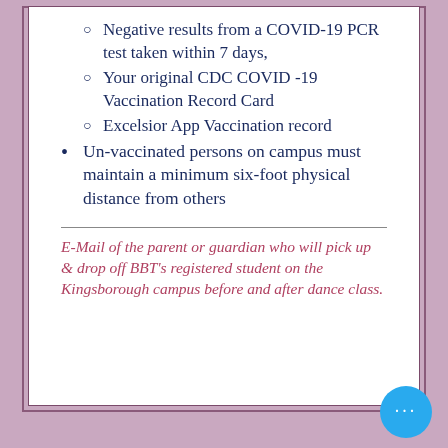Negative results from a COVID-19 PCR test taken within 7 days,
Your original CDC COVID -19 Vaccination Record Card
Excelsior App Vaccination record
Un-vaccinated persons on campus must maintain a minimum six-foot physical distance from others
E-Mail of the parent or guardian who will pick up & drop off BBT's registered student on the Kingsborough campus before and after dance class.